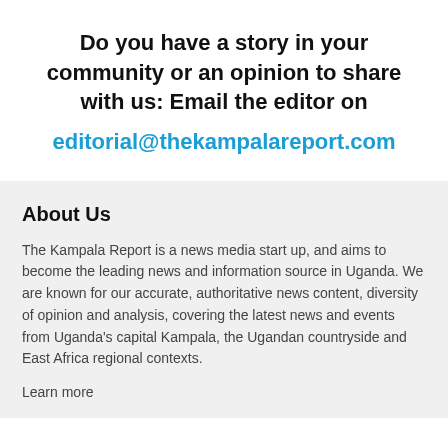Do you have a story in your community or an opinion to share with us: Email the editor on editorial@thekampalareport.com
About Us
The Kampala Report is a news media start up, and aims to become the leading news and information source in Uganda. We are known for our accurate, authoritative news content, diversity of opinion and analysis, covering the latest news and events from Uganda's capital Kampala, the Ugandan countryside and East Africa regional contexts.
Learn more